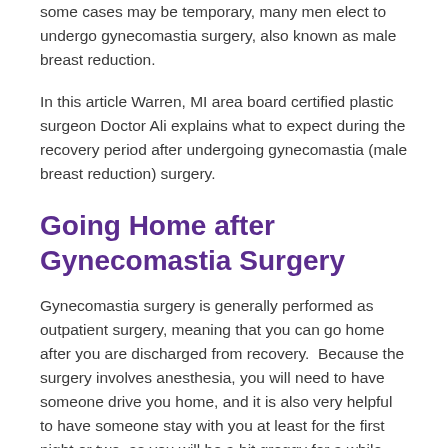some cases may be temporary, many men elect to undergo gynecomastia surgery, also known as male breast reduction.
In this article Warren, MI area board certified plastic surgeon Doctor Ali explains what to expect during the recovery period after undergoing gynecomastia (male breast reduction) surgery.
Going Home after Gynecomastia Surgery
Gynecomastia surgery is generally performed as outpatient surgery, meaning that you can go home after you are discharged from recovery.  Because the surgery involves anesthesia, you will need to have someone drive you home, and it is also very helpful to have someone stay with you at least for the first night or two, as you will be a bit groggy for a while.  Most patients are